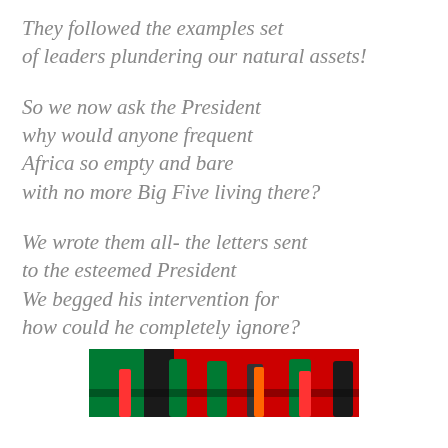They followed the examples set of leaders plundering our natural assets!
So we now ask the President why would anyone frequent Africa so empty and bare with no more Big Five living there?
We wrote them all- the letters sent to the esteemed President We begged his intervention for how could he completely ignore?
[Figure (photo): Partially visible image at bottom of page showing colorful objects in red, green and black against a red background]